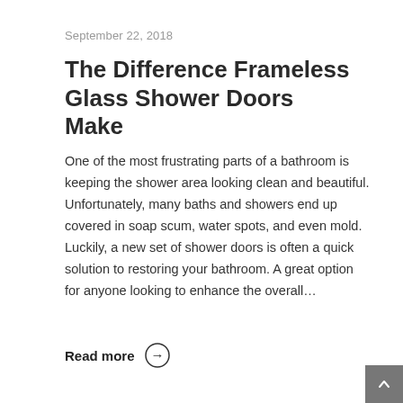September 22, 2018
The Difference Frameless Glass Shower Doors Make
One of the most frustrating parts of a bathroom is keeping the shower area looking clean and beautiful. Unfortunately, many baths and showers end up covered in soap scum, water spots, and even mold. Luckily, a new set of shower doors is often a quick solution to restoring your bathroom. A great option for anyone looking to enhance the overall…
Read more →